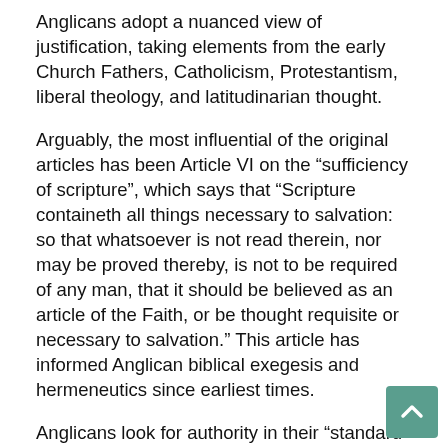Anglicans adopt a nuanced view of justification, taking elements from the early Church Fathers, Catholicism, Protestantism, liberal theology, and latitudinarian thought.
Arguably, the most influential of the original articles has been Article VI on the “sufficiency of scripture”, which says that “Scripture containeth all things necessary to salvation: so that whatsoever is not read therein, nor may be proved thereby, is not to be required of any man, that it should be believed as an article of the Faith, or be thought requisite or necessary to salvation.” This article has informed Anglican biblical exegesis and hermeneutics since earliest times.
Anglicans look for authority in their “standard divines” (see below). Historically, the most influential of these – apart from Cranmer – has been the 16th-century cleric